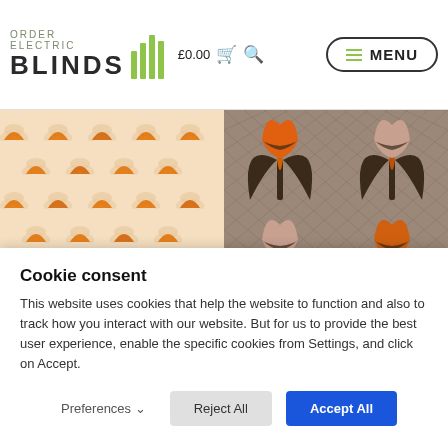ORDER ELECTRIC BLINDS £0.00 MENU
[Figure (photo): Two fabric/wallpaper pattern samples side by side. Left: cream/peach background with repeating orange half-sun and tulip motif. Right: dark brown crosshatch background with large retro tulip/leaf motif in orange, brown, and cream.]
Cookie consent
This website uses cookies that help the website to function and also to track how you interact with our website. But for us to provide the best user experience, enable the specific cookies from Settings, and click on Accept.
Preferences
Reject All
Accept All